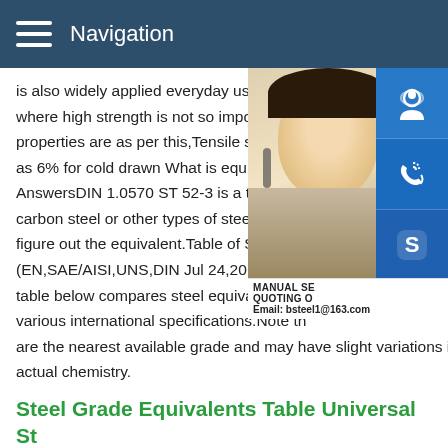Navigation
is also widely applied everyday uses and s where high strength is not so important.ST properties are as per this,Tensile strength as 6% for cold drawn What is equivalent to AnswersDIN 1.0570 ST 52-3 is a type of s carbon steel or other types of steel.A mate figure out the equivalent.Table of Steel Eq (EN,SAE/AISI,UNS,DIN Jul 24,2010 st37 table below compares steel equivalent gra various international specifications.Note th are the nearest available grade and may have slight variations in actual chemistry.
[Figure (photo): Customer service representative woman with headset, with blue icon buttons for support, phone, and skype, and contact info overlay showing MANUAL SE, QUOTING O, Email: bsteel1@163.com]
Steel Grade Equivalents Table Universal St America
HOUSTON,TX.1230 E.Richey Road Houston TX 77073 Toll F